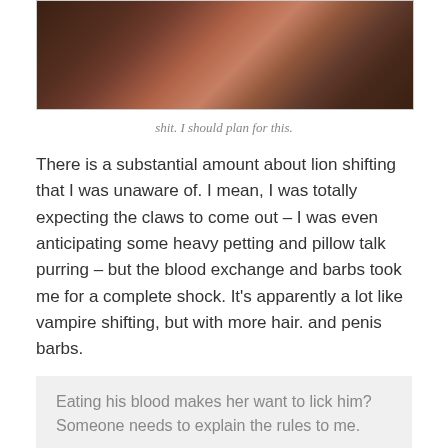[Figure (photo): Blurry close-up photo with dark brown and reddish tones, appears to show hands or objects in low light]
shit. I should plan for this.
There is a substantial amount about lion shifting that I was unaware of. I mean, I was totally expecting the claws to come out – I was even anticipating some heavy petting and pillow talk purring – but the blood exchange and barbs took me for a complete shock. It's apparently a lot like vampire shifting, but with more hair. and penis barbs.
Eating his blood makes her want to lick him? Someone needs to explain the rules to me.